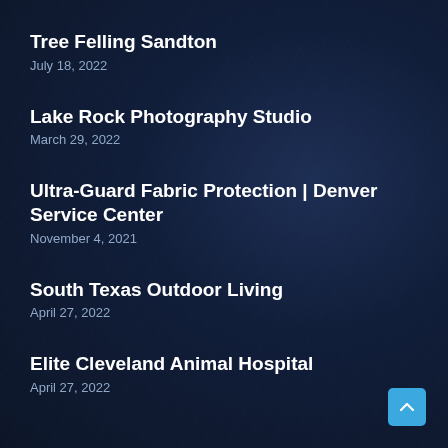Tree Felling Sandton
July 18, 2022
Lake Rock Photography Studio
March 29, 2022
Ultra-Guard Fabric Protection | Denver Service Center
November 4, 2021
South Texas Outdoor Living
April 27, 2022
Elite Cleveland Animal Hospital
April 27, 2022